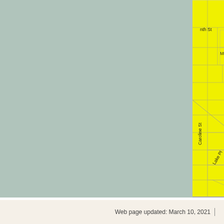[Figure (map): Street map showing a neighborhood grid with yellow background. Streets visible include: Pelton Pl, Arden (partial), nth St, Alden Pl, Markham Ct, 5th (partial), Oe Pl (Doe Pl), Market St, Britton St, Caroline St, Sheffield St, Myrtle Ave, Green St, E Raleigh Ave, Bement Ave, Colonial Ct, Dallas St, Oakland Ave, Lake Pl (partial). A blue dot marker is visible near Castleton Ave/Britton St intersection with a blue line extending to the right. Barrett Park is shown in green in the lower portion of the map.]
Web page updated: March 10, 2021